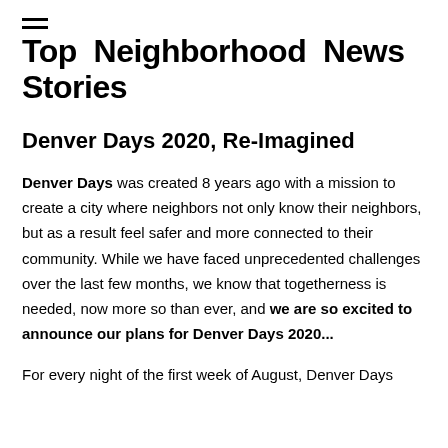Top Neighborhood News Stories
Denver Days 2020, Re-Imagined
Denver Days was created 8 years ago with a mission to create a city where neighbors not only know their neighbors, but as a result feel safer and more connected to their community. While we have faced unprecedented challenges over the last few months, we know that togetherness is needed, now more so than ever, and we are so excited to announce our plans for Denver Days 2020...
For every night of the first week of August, Denver Days